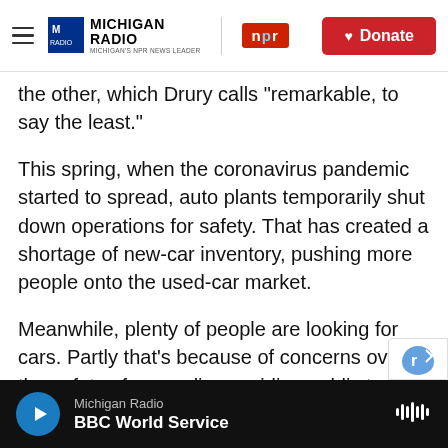Michigan Radio | NPR | Donate
the other, which Drury calls "remarkable, to say the least."
This spring, when the coronavirus pandemic started to spread, auto plants temporarily shut down operations for safety. That has created a shortage of new-car inventory, pushing more people onto the used-car market.
Meanwhile, plenty of people are looking for cars. Partly that's because of concerns over the safety of carpooling or riding public transit (although transit systems are taking steps to promote safety).
Michigan Radio | BBC World Service